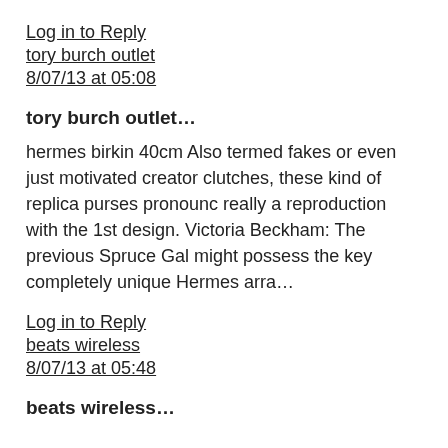Log in to Reply
tory burch outlet
8/07/13 at 05:08
tory burch outlet…
hermes birkin 40cm Also termed fakes or even just motivated creator clutches, these kind of replica purses pronounc really a reproduction with the 1st design. Victoria Beckham: The previous Spruce Gal might possess the key completely unique Hermes arra…
Log in to Reply
beats wireless
8/07/13 at 05:48
beats wireless…